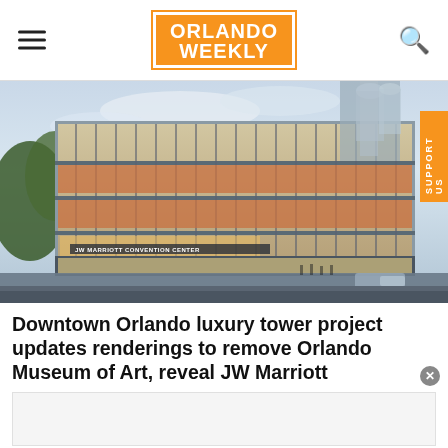ORLANDO WEEKLY
[Figure (photo): Architectural rendering of JW Marriott Convention Center building exterior at dusk, a modern multi-story glass and brick structure with signage reading JW MARRIOTT CONVENTION CENTER]
Downtown Orlando luxury tower project updates renderings to remove Orlando Museum of Art, reveal JW Marriott